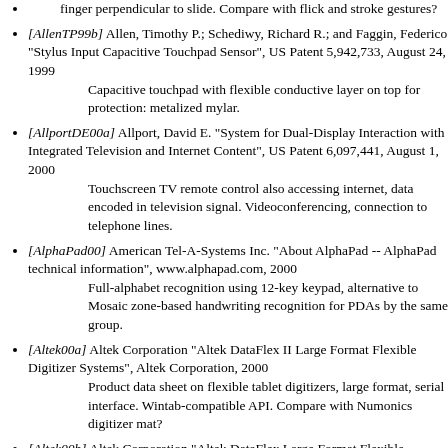finger perpendicular to slide. Compare with flick and stroke gestures?
[AllenTP99b] Allen, Timothy P.; Schediwy, Richard R.; and Faggin, Federico "Stylus Input Capacitive Touchpad Sensor", US Patent 5,942,733, August 24, 1999 — Capacitive touchpad with flexible conductive layer on top for protection: metalized mylar.
[AllportDE00a] Allport, David E. "System for Dual-Display Interaction with Integrated Television and Internet Content", US Patent 6,097,441, August 1, 2000 — Touchscreen TV remote control also accessing internet, data encoded in television signal. Videoconferencing, connection to telephone lines.
[AlphaPad00] American Tel-A-Systems Inc. "About AlphaPad -- AlphaPad technical information", www.alphapad.com, 2000 — Full-alphabet recognition using 12-key keypad, alternative to Mosaic zone-based handwriting recognition for PDAs by the same group.
[Altek00a] Altek Corporation "Altek DataFlex II Large Format Flexible Digitizer Systems", Altek Corporation, 2000 — Product data sheet on flexible tablet digitizers, large format, serial interface. Wintab-compatible API. Compare with Numonics digitizer mat?
[Altek00b] Altek Corporation "Altek DataFlex Large Format Flexible Digitizer Systems", Altek Corporation, 2000